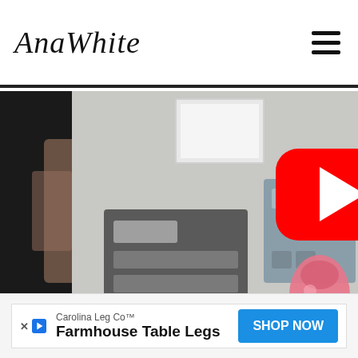AnaWhite
[Figure (screenshot): Video thumbnail showing a room wall with mounted gray organizer panels with hooks holding bags, a child visible on the left side, and a YouTube play button overlay in the center.]
Carolina Leg Co™ Farmhouse Table Legs SHOP NOW